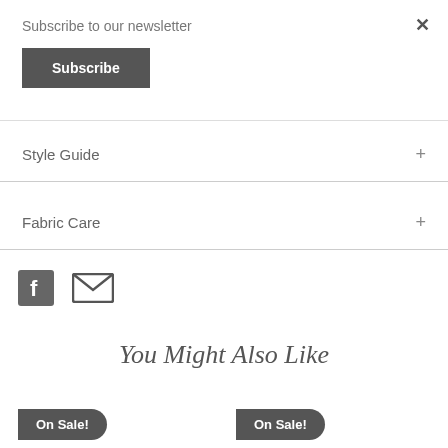Subscribe to our newsletter
Subscribe
×
Style Guide
Fabric Care
[Figure (illustration): Facebook icon (square with F) and email envelope icon]
You Might Also Like
On Sale!
On Sale!